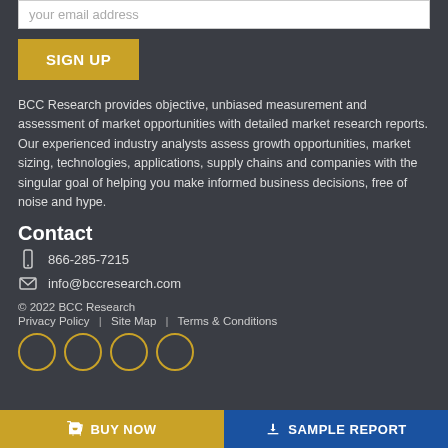your email address
SIGN UP
BCC Research provides objective, unbiased measurement and assessment of market opportunities with detailed market research reports. Our experienced industry analysts assess growth opportunities, market sizing, technologies, applications, supply chains and companies with the singular goal of helping you make informed business decisions, free of noise and hype.
Contact
866-285-7215
info@bccresearch.com
© 2022 BCC Research
Privacy Policy | Site Map | Terms & Conditions
BUY NOW
SAMPLE REPORT